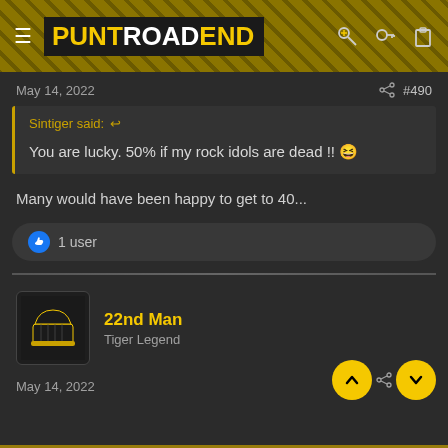[Figure (logo): PUNT ROAD END forum logo with yellow text on dark background, tiger pattern background]
May 14, 2022  #490
Sintiger said: You are lucky. 50% if my rock idols are dead !! 😆
Many would have been happy to get to 40...
👍 1 user
22nd Man
Tiger Legend
May 14, 2022